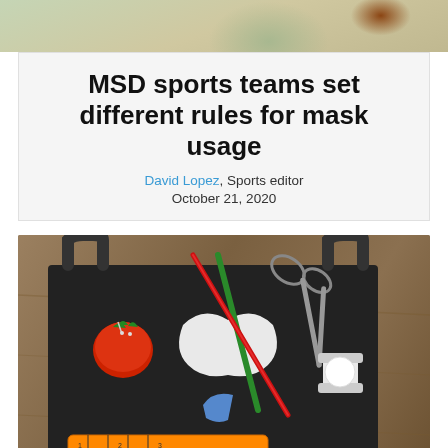[Figure (photo): Top portion of a sports photo showing athletes on a field, partially cropped]
MSD sports teams set different rules for mask usage
David Lopez, Sports editor
October 21, 2020
[Figure (photo): Black tote bag laid flat on a wooden surface with sewing supplies on top: tomato pincushion, scissors, green and red rods/sticks, white thread spool, blue tool, tape measure, and a white mask shape]
How to make a mask out of everyday...